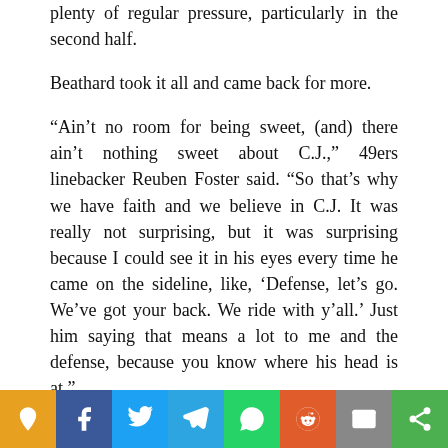plenty of regular pressure, particularly in the second half.
Beathard took it all and came back for more.
“Ain’t no room for being sweet, (and) there ain’t nothing sweet about C.J.,” 49ers linebacker Reuben Foster said. “So that’s why we have faith and we believe in C.J. It was really not surprising, but it was surprising because I could see it in his eyes every time he came on the sideline, like, ‘Defense, let’s go. We’ve got your back. We ride with y’all.’ Just him saying that means a lot to me and the defense, because you know where his head is at.”
Beathard dropped to 1-5 as an NFL starter with this loss, but his teammates loved his moxie. Hayward’s big hit sent Beathard to the sideline — once he could stand up again — but he returned for the 49ers’ final two offensive seri…